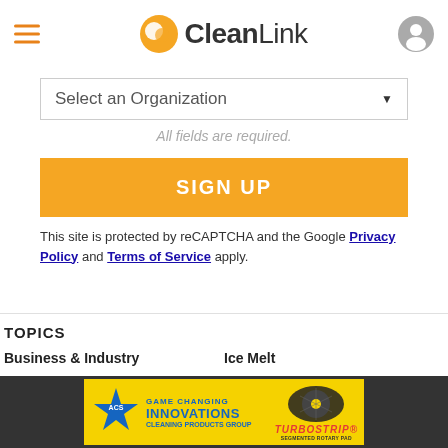CleanLink
Select an Organization ▼
All fields are required.
SIGN UP
This site is protected by reCAPTCHA and the Google Privacy Policy and Terms of Service apply.
TOPICS
Business & Industry
Ice Melt
Carpet Care
Infection Control
Cleaners & Disinfectants
Restroom Care
Floor Care
Software
Green Cleaning & Sustainability
[Figure (screenshot): ACS Cleaning Products Group - Game Changing Innovations - TurboStrip Segmented Rotary Pad advertisement banner]